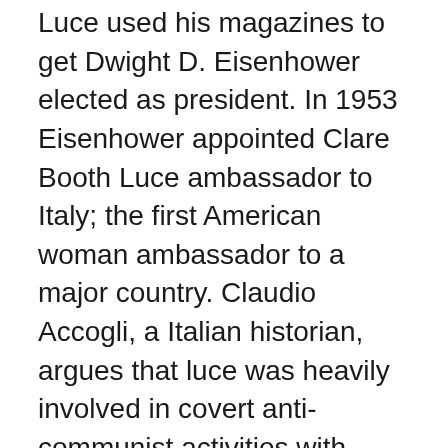Luce used his magazines to get Dwight D. Eisenhower elected as president. In 1953 Eisenhower appointed Clare Booth Luce ambassador to Italy; the first American woman ambassador to a major country. Claudio Accogli, a Italian historian, argues that luce was heavily involved in covert anti-communist activities with local cia personnel. Larry Hancock adds: “With no-holds barred political activism and heavy spending (including the support of the SIFAR/Italian Army Secret Service), Luce and the CIA managed to block the probable takeover of the center-left governments, an alliance between